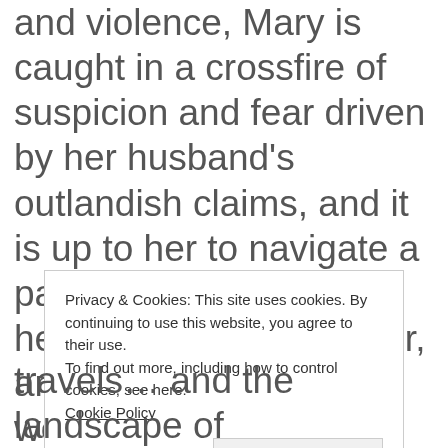and violence, Mary is caught in a crossfire of suspicion and fear driven by her husband's outlandish claims, and it is up to her to navigate a passage to safety for herself and her daughter, and the vulnerable women in her care.

When a fellow sailor, a dangerous man with nothing to lose,
Privacy & Cookies: This site uses cookies. By continuing to use this website, you agree to their use.
To find out more, including how to control cookies, see here:
Cookie Policy
Close and accept
travels… and the landscape of